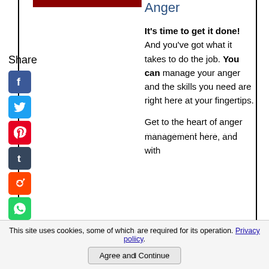[Figure (other): Dark red/maroon horizontal bar at top left]
Anger
Share
[Figure (other): Facebook share icon - blue square with white F]
[Figure (other): Twitter share icon - blue square with white bird]
[Figure (other): Pinterest share icon - red square with white P]
[Figure (other): Tumblr share icon - dark blue square with white t]
[Figure (other): Reddit share icon - orange square with white alien]
[Figure (other): WhatsApp share icon - green square with white phone]
[Figure (other): Messenger share icon - blue square with white chat bubble]
It's time to get it done! And you've got what it takes to do the job. You can manage your anger and the skills you need are right here at your fingertips.

Get to the heart of anger management here, and with
This site uses cookies, some of which are required for its operation. Privacy policy.
Agree and Continue